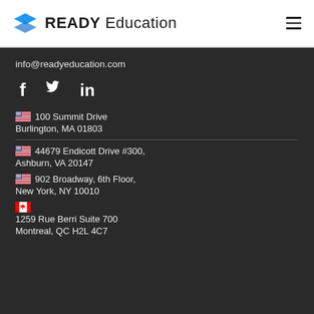READY Education
info@readyeducation.com
[Figure (other): Social media icons: Facebook (f), Twitter (bird), LinkedIn (in)]
🇺🇸 100 Summit Drive
Burlington, MA 01803
🇺🇸 44679 Endicott Drive #300,
Ashburn, VA 20147
🇺🇸 902 Broadway, 6th Floor,
New York, NY 10010
🇨🇦
1259 Rue Berri Suite 700
Montreal, QC H2L 4C7